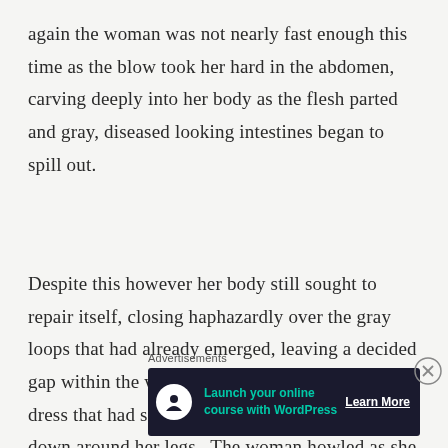again the woman was not nearly fast enough this time as the blow took her hard in the abdomen, carving deeply into her body as the flesh parted and gray, diseased looking intestines began to spill out.
Despite this however her body still sought to repair itself, closing haphazardly over the gray loops that had already emerged, leaving a decided gap within the woman’s stomach as the flaps of dress that had surrendered to Taegan’s blade fell down around her legs.  The woman howled as she attacked, claws raking again at Taegan’s face as the half-breed just barely managed to fend her away.  The woman was
Advertisements
[Figure (other): Advertisement banner: dark navy background with white circle icon containing a tree/person logo, teal text reading 'Launch your online course with WordPress', and white underlined 'Learn More' button. Close button (circled X) at top right.]